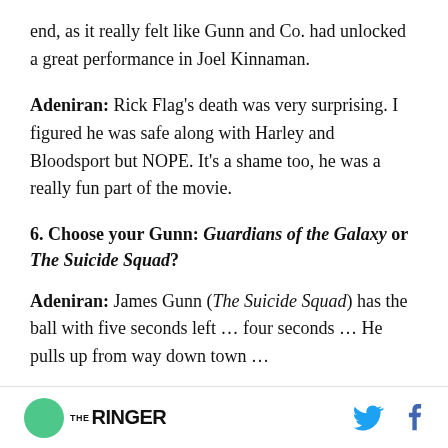end, as it really felt like Gunn and Co. had unlocked a great performance in Joel Kinnaman.
Adeniran: Rick Flag’s death was very surprising. I figured he was safe along with Harley and Bloodsport but NOPE. It’s a shame too, he was a really fun part of the movie.
6. Choose your Gunn: Guardians of the Galaxy or The Suicide Squad?
Adeniran: James Gunn (The Suicide Squad) has the ball with five seconds left ... four seconds ... He pulls up from way down town ...
THE RINGER